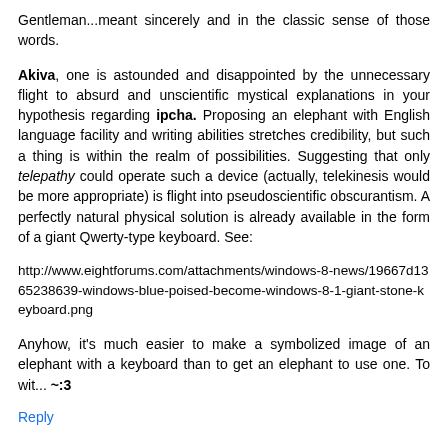Gentleman...meant sincerely and in the classic sense of those words.
Akiva, one is astounded and disappointed by the unnecessary flight to absurd and unscientific mystical explanations in your hypothesis regarding ipcha. Proposing an elephant with English language facility and writing abilities stretches credibility, but such a thing is within the realm of possibilities. Suggesting that only telepathy could operate such a device (actually, telekinesis would be more appropriate) is flight into pseudoscientific obscurantism. A perfectly natural physical solution is already available in the form of a giant Qwerty-type keyboard. See:
http://www.eightforums.com/attachments/windows-8-news/19667d1365238639-windows-blue-poised-become-windows-8-1-giant-stone-keyboard.png
Anyhow, it's much easier to make a symbolized image of an elephant with a keyboard than to get an elephant to use one. To wit... ~:3
Reply